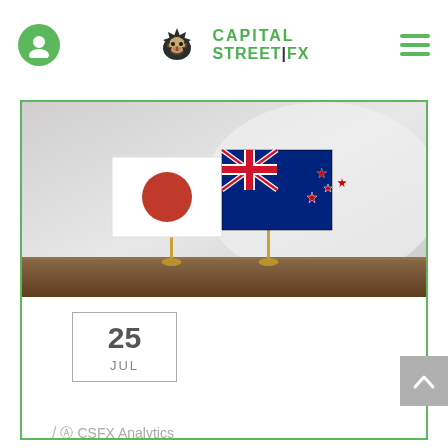[Figure (logo): Capital Street FX logo with lion head icon and green text]
[Figure (photo): Japan and New Zealand small desk flags on a wooden surface with blurred background]
25
JUL
/ @ CSFX Analytics
NZD JPY